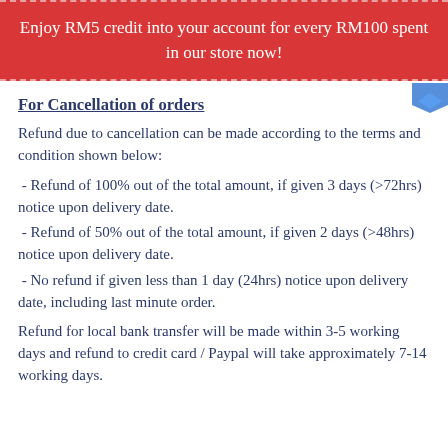Enjoy RM5 credit into your account for every RM100 spent in our store now!
For Cancellation of orders
Refund due to cancellation can be made according to the terms and condition shown below:
- Refund of 100% out of the total amount, if given 3 days (>72hrs)  notice upon delivery date.
- Refund of 50% out of the total amount, if given 2 days (>48hrs) notice upon delivery date.
- No refund if given less than 1 day (24hrs) notice upon delivery date, including last minute order.
Refund for local bank transfer will be made within 3-5 working days and refund to credit card / Paypal will take approximately 7-14 working days.